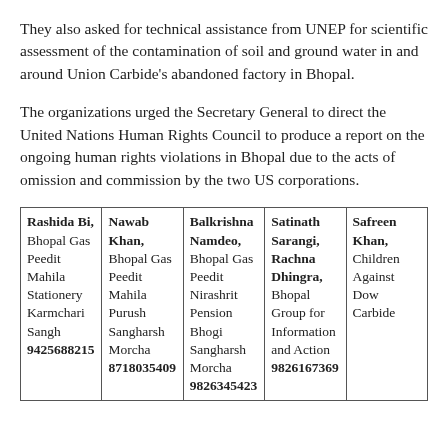They also asked for technical assistance from UNEP for scientific assessment of the contamination of soil and ground water in and around Union Carbide's abandoned factory in Bhopal.
The organizations urged the Secretary General to direct the United Nations Human Rights Council to produce a report on the ongoing human rights violations in Bhopal due to the acts of omission and commission by the two US corporations.
| Rashida Bi, Bhopal Gas Peedit Mahila Stationery Karmchari Sangh 9425688215 | Nawab Khan, Bhopal Gas Peedit Mahila Purush Sangharsh Morcha 8718035409 | Balkrishna Namdeo, Bhopal Gas Peedit Nirashrit Pension Bhogi Sangharsh Morcha 9826345423 | Satinath Sarangi, Rachna Dhingra, Bhopal Group for Information and Action 9826167369 | Safreen Khan, Children Against Dow Carbide |